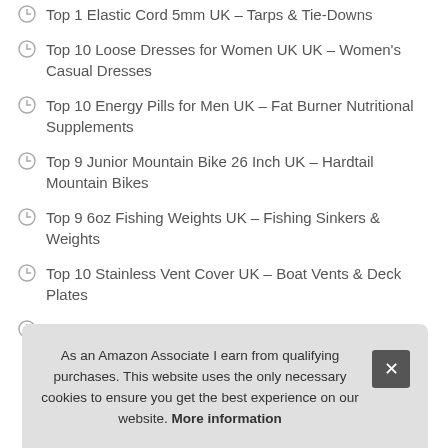Top 1 Elastic Cord 5mm UK – Tarps & Tie-Downs
Top 10 Loose Dresses for Women UK UK – Women's Casual Dresses
Top 10 Energy Pills for Men UK – Fat Burner Nutritional Supplements
Top 9 Junior Mountain Bike 26 Inch UK – Hardtail Mountain Bikes
Top 9 6oz Fishing Weights UK – Fishing Sinkers & Weights
Top 10 Stainless Vent Cover UK – Boat Vents & Deck Plates
T… Susp…
As an Amazon Associate I earn from qualifying purchases. This website uses the only necessary cookies to ensure you get the best experience on our website. More information